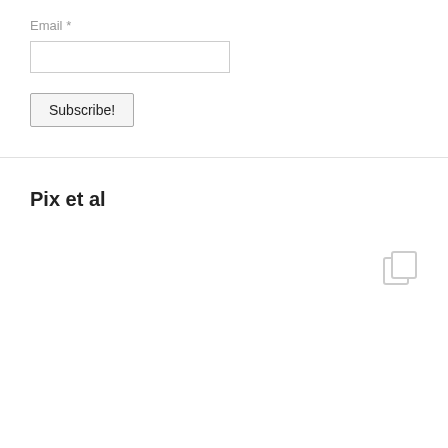Email *
[Figure (other): Empty text input field for email]
[Figure (other): Subscribe! button]
Pix et al
[Figure (other): Copy/duplicate icon in light gray]